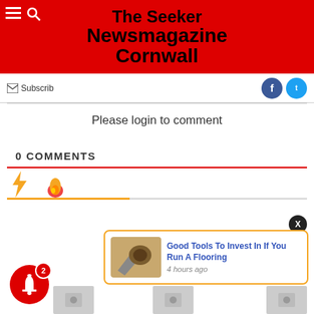The Seeker Newsmagazine Cornwall
Subscribe
Please login to comment
0 COMMENTS
[Figure (screenshot): Comment section icons - lightning bolt and fire emoji in orange]
Good Tools To Invest In If You Run A Flooring
4 hours ago